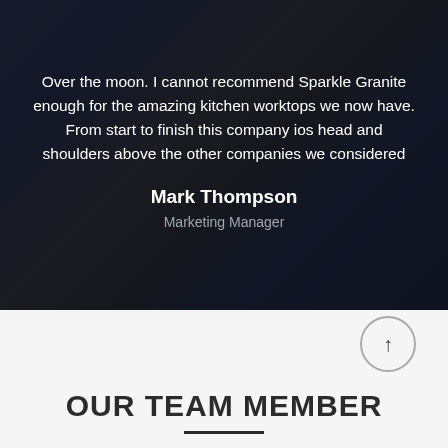Over the moon. I cannot recommend Sparkle Granite enough for the amazing kitchen worktops we now have. From start to finish this company ios head and shoulders above the other companies we considered
Mark Thompson
Marketing Manager
OUR TEAM MEMBER